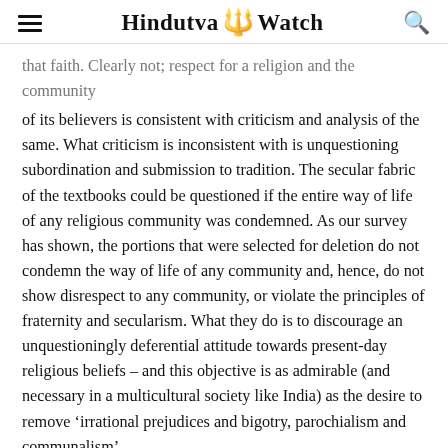Hindutva Watch
that faith. Clearly not; respect for a religion and the community of its believers is consistent with criticism and analysis of the same. What criticism is inconsistent with is unquestioning subordination and submission to tradition. The secular fabric of the textbooks could be questioned if the entire way of life of any religious community was condemned. As our survey has shown, the portions that were selected for deletion do not condemn the way of life of any community and, hence, do not show disrespect to any community, or violate the principles of fraternity and secularism. What they do is to discourage an unquestioningly deferential attitude towards present-day religious beliefs – and this objective is as admirable (and necessary in a multicultural society like India) as the desire to remove ‘irrational prejudices and bigotry, parochialism and communalism’.
The rhetoric of ‘communal harmony’ that the NCERT had been putting forth for several years (while it presented the Nehruvian vision of India) was as inevitable as the periodic denial of...